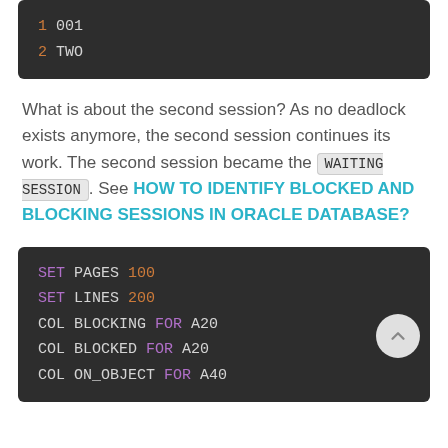[Figure (screenshot): Dark code block showing two lines: '1 001' and '2 TWO' with line numbers in orange and values in light gray]
What is about the second session? As no deadlock exists anymore, the second session continues its work. The second session became the WAITING SESSION. See HOW TO IDENTIFY BLOCKED AND BLOCKING SESSIONS IN ORACLE DATABASE?
[Figure (screenshot): Dark code block showing SQL*Plus commands: SET PAGES 100, SET LINES 200, COL BLOCKING FOR A20, COL BLOCKED FOR A20, COL ON_OBJECT FOR A40]